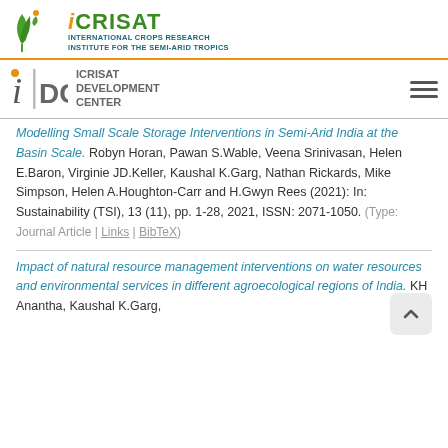[Figure (logo): ICRISAT logo with green leaf/plant icon and text 'ICRISAT' in green, beside 'INTERNATIONAL CROPS RESEARCH INSTITUTE FOR THE SEMI-ARID TROPICS' in teal/dark teal]
[Figure (logo): IDC - ICRISAT DEVELOPMENT CENTER logo with stylized 'iDC' letters]
Modelling Small Scale Storage Interventions in Semi-Arid India at the Basin Scale. Robyn Horan, Pawan S.Wable, Veena Srinivasan, Helen E.Baron, Virginie JD.Keller, Kaushal K.Garg, Nathan Rickards, Mike Simpson, Helen A.Houghton-Carr and H.Gwyn Rees (2021): In: Sustainability (TSI), 13 (11), pp. 1-28, 2021, ISSN: 2071-1050. (Type: Journal Article | Links | BibTeX)
Impact of natural resource management interventions on water resources and environmental services in different agroecological regions of India. KH Anantha, Kaushal K.Garg,